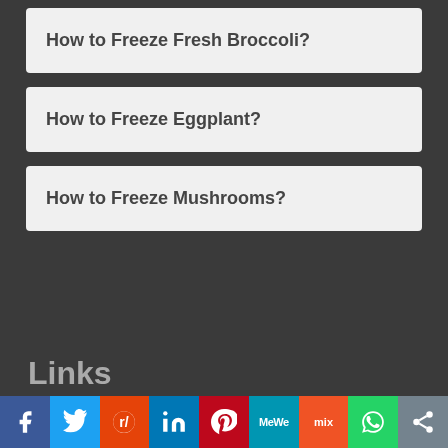How to Freeze Fresh Broccoli?
How to Freeze Eggplant?
How to Freeze Mushrooms?
Links
[Figure (infographic): Social media sharing bar with icons: Facebook, Twitter, Reddit, LinkedIn, Pinterest, MeWe, Mix, WhatsApp, Share]